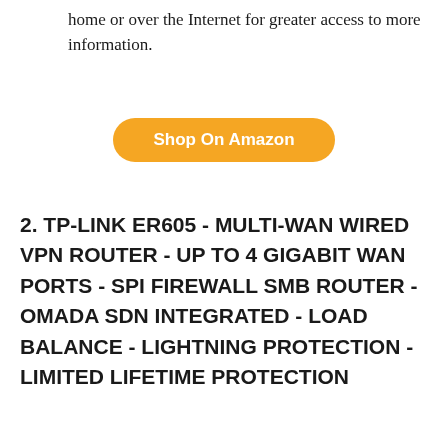home or over the Internet for greater access to more information.
Shop On Amazon
2. TP-LINK ER605 - MULTI-WAN WIRED VPN ROUTER - UP TO 4 GIGABIT WAN PORTS - SPI FIREWALL SMB ROUTER - OMADA SDN INTEGRATED - LOAD BALANCE - LIGHTNING PROTECTION - LIMITED LIFETIME PROTECTION